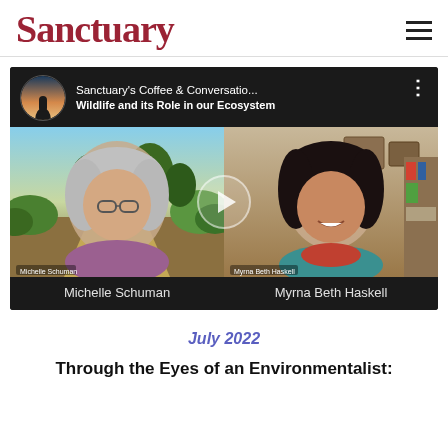Sanctuary
[Figure (screenshot): YouTube video thumbnail for Sanctuary's Coffee & Conversations: Wildlife and its Role in our Ecosystem, featuring Michelle Schuman and Myrna Beth Haskell in a video call format with a play button overlay]
July 2022
Through the Eyes of an Environmentalist: